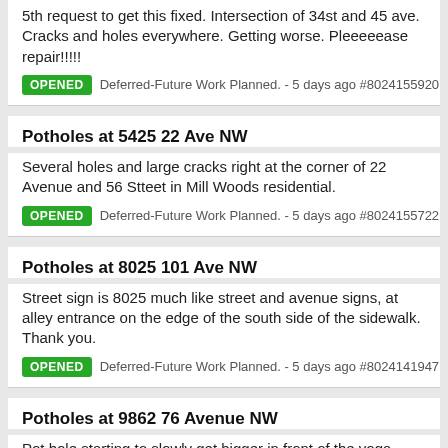5th request to get this fixed. Intersection of 34st and 45 ave. Cracks and holes everywhere. Getting worse. Pleeeeease repair!!!!!
OPENED  Deferred-Future Work Planned. - 5 days ago #8024155920
Potholes at 5425 22 Ave NW
Several holes and large cracks right at the corner of 22 Avenue and 56 Stteet in Mill Woods residential.
OPENED  Deferred-Future Work Planned. - 5 days ago #8024155722
Potholes at 8025 101 Ave NW
Street sign is 8025 much like street and avenue signs, at alley entrance on the edge of the south side of the sidewalk. Thank you.
OPENED  Deferred-Future Work Planned. - 5 days ago #8024141947
Potholes at 9862 76 Avenue NW
Pot hole starting to slowly get bigger in front of the yoga store and i Canada